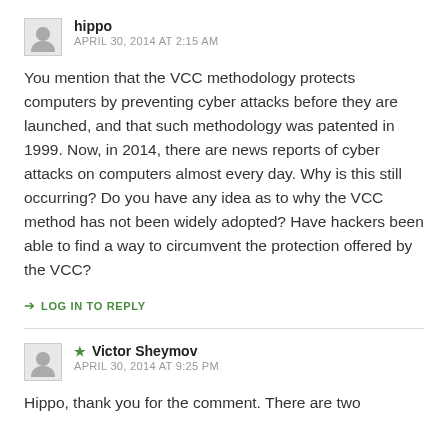hippo
APRIL 30, 2014 AT 2:15 AM
You mention that the VCC methodology protects computers by preventing cyber attacks before they are launched, and that such methodology was patented in 1999. Now, in 2014, there are news reports of cyber attacks on computers almost every day. Why is this still occurring? Do you have any idea as to why the VCC method has not been widely adopted? Have hackers been able to find a way to circumvent the protection offered by the VCC?
LOG IN TO REPLY
Victor Sheymov
APRIL 30, 2014 AT 9:25 PM
Hippo, thank you for the comment. There are two